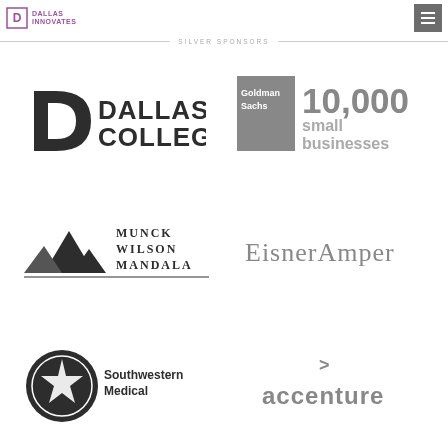Dallas Innovates
SILVER SPONSORS
[Figure (logo): Dallas College logo — stylized D with star and bold text DALLAS COLLEGE]
[Figure (logo): Goldman Sachs 10,000 small businesses logo — gray square with Goldman Sachs text and large 10,000 small businesses text]
[Figure (logo): Munck Wilson Mandala logo — mountain/triangle graphic with firm name text and horizontal rule]
[Figure (logo): EisnerAmper logo — gray serif/sans text]
[Figure (logo): Southwestern Medical logo — star-in-circle emblem with Southwestern Medical text]
[Figure (logo): Accenture logo — accenture text with greater-than arrow above]